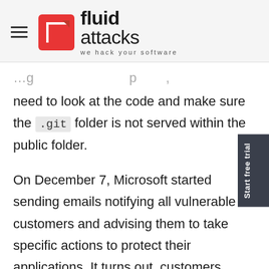[Figure (logo): Fluid Attacks logo with red square icon containing white arrow, bold text 'fluid attacks' and tagline 'we hack your software']
need to look at the code and make sure the .git folder is not served within the public folder.
On December 7, Microsoft started sending emails notifying all vulnerable customers and advising them to take specific actions to protect their applications. It turns out, customers using Local Git from the start were not the only ones affected. Customers whose applications were deployed using other methods but had got files created or modified